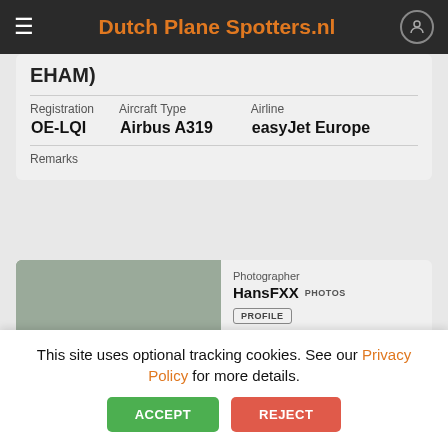Dutch Plane Spotters.nl
| Registration | Aircraft Type | Airline |
| --- | --- | --- |
| OE-LQI | Airbus A319 | easyJet Europe |
Remarks
[Figure (photo): easyJet Europe Airbus A319 registration OE-LQI on the runway, orange livery, overcast sky]
Photographer
HansFXX PHOTOS
PROFILE
Date Taken
10-12-2021
Licence
Full Copyright
This site uses optional tracking cookies. See our Privacy Policy for more details.
ACCEPT   REJECT